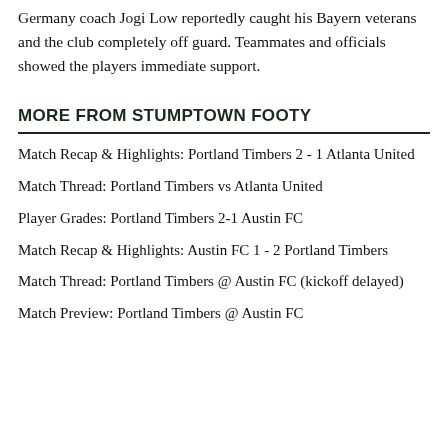Germany coach Jogi Low reportedly caught his Bayern veterans and the club completely off guard. Teammates and officials showed the players immediate support.
MORE FROM STUMPTOWN FOOTY
Match Recap & Highlights: Portland Timbers 2 - 1 Atlanta United
Match Thread: Portland Timbers vs Atlanta United
Player Grades: Portland Timbers 2-1 Austin FC
Match Recap & Highlights: Austin FC 1 - 2 Portland Timbers
Match Thread: Portland Timbers @ Austin FC (kickoff delayed)
Match Preview: Portland Timbers @ Austin FC